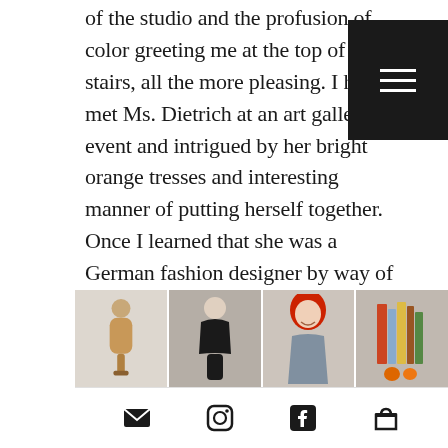of the studio and the profusion of color greeting me at the top of the stairs, all the more pleasing. I had met Ms. Dietrich at an art gallery event and intrigued by her bright orange tresses and interesting manner of putting herself together. Once I learned that she was a German fashion designer by way of Italy, Paris and now New York with a private clientele who seek out for her custom-made one-of-a-kind frocks and separates, I had to know more.
[Figure (photo): Photo strip showing four images: a dress mannequin/dummy, a black garment on a figure, a woman with bright red hair smiling, and a shelf with books and orange objects]
[Figure (infographic): Footer navigation bar with four icons: email/envelope, Instagram, Facebook, and shopping bag]